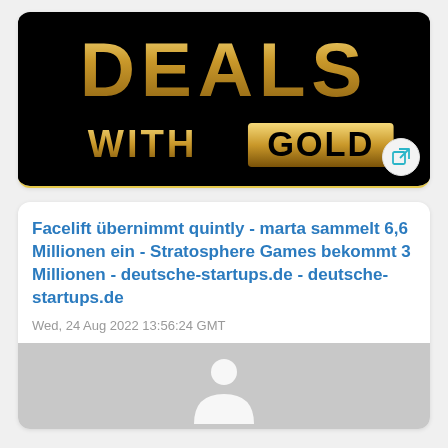[Figure (logo): Deals with Gold logo — gold text 'DEALS' above, then 'WITH' and 'GOLD' in gold box on black background]
Facelift übernimmt quintly - marta sammelt 6,6 Millionen ein - Stratosphere Games bekommt 3 Millionen - deutsche-startups.de - deutsche-startups.de
Wed, 24 Aug 2022 13:56:24 GMT
[Figure (photo): Gray placeholder image with a white person/user icon in the center]